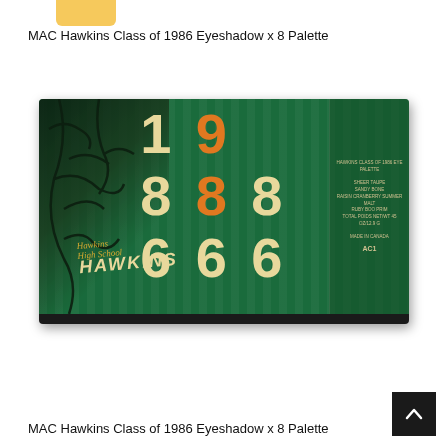[Figure (photo): Partial yellow/gold logo visible at top left corner of the page]
MAC Hawkins Class of 1986 Eyeshadow x 8 Palette
[Figure (photo): MAC Hawkins Class of 1986 Eyeshadow x 8 Palette product image showing a rectangular eye shadow palette with dark green background featuring '1986' in large cream and orange retro bubble numbers, tree branch graphics on left, HAWKINS text in italic gold script, and an info panel on the right side with product details and AC1 code.]
MAC Hawkins Class of 1986 Eyeshadow x 8 Palette